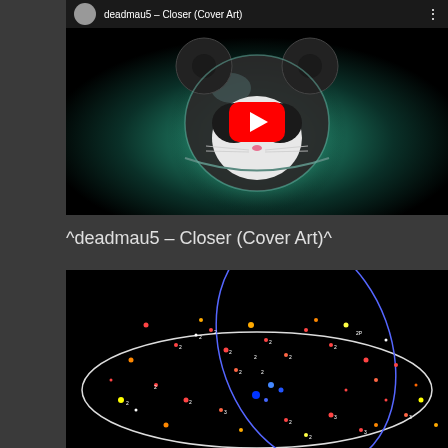[Figure (screenshot): YouTube embedded video thumbnail showing deadmau5 – Closer (Cover Art) with a cat wearing a deadmau5 helmet on a teal/dark background, with YouTube play button overlay]
^deadmau5 – Closer (Cover Art)^
[Figure (screenshot): Dark astronomical or music visualization screenshot showing scattered colored dots (red, orange, yellow, blue, white) with numbers, overlaid with white and blue elliptical orbit curves on black background]